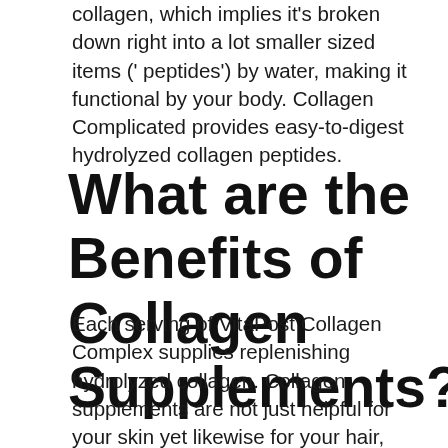collagen, which implies it's broken down right into a lot smaller sized items ('peptides') by water, making it functional by your body. Collagen Complicated provides easy-to-digest hydrolyzed collagen peptides.
What are the Benefits of Collagen Supplements?
Each serving of VitaPost Collagen Complex supplies replenishing hydrolyzed collagen. Collagen supplements are not just helpful for your skin yet likewise for your hair, nails, as well as joints. It can help with joint pain and arthritis along with making you feel much